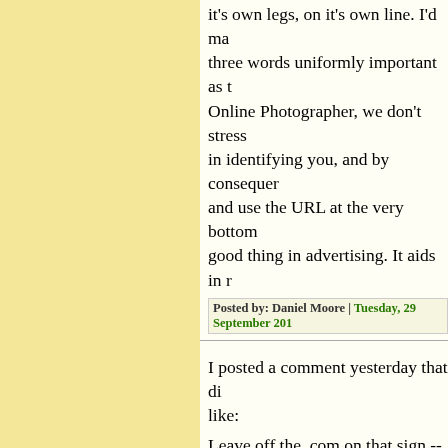it's own legs, on it's own line. I'd ma three words uniformly important as t Online Photographer, we don't stress in identifying you, and by consequer and use the URL at the very bottom good thing in advertising. It aids in r
Posted by: Daniel Moore | Tuesday, 29 September 201...
I posted a comment yesterday that di like:
Leave off the .com on that sign -- it l
And is it just me but is "The" and "C They seem to be a little to the left. "I
Or is it just the capitol letters adding
Posted by: Kevin Purcell | Tuesday, 29 September 201...